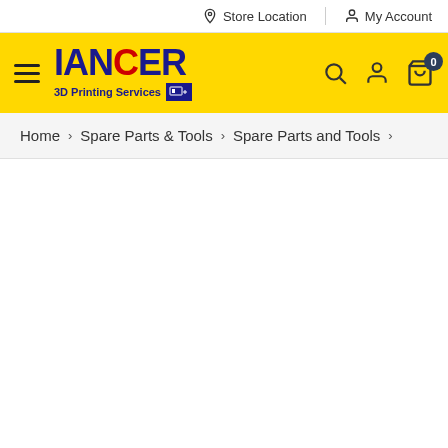Store Location | My Account
[Figure (logo): LANCER 3D Printing Services logo with hamburger menu, search, account and cart icons on yellow background]
Home > Spare Parts & Tools > Spare Parts and Tools